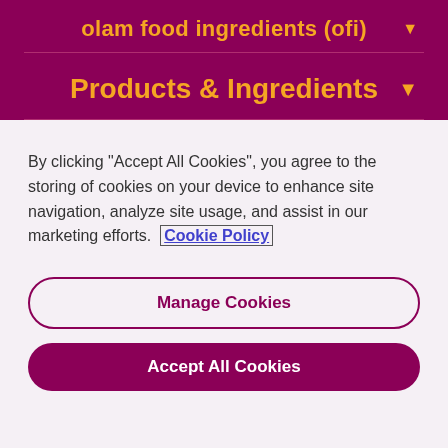olam food ingredients (ofi)
Products & Ingredients
By clicking "Accept All Cookies", you agree to the storing of cookies on your device to enhance site navigation, analyze site usage, and assist in our marketing efforts. Cookie Policy
Manage Cookies
Accept All Cookies